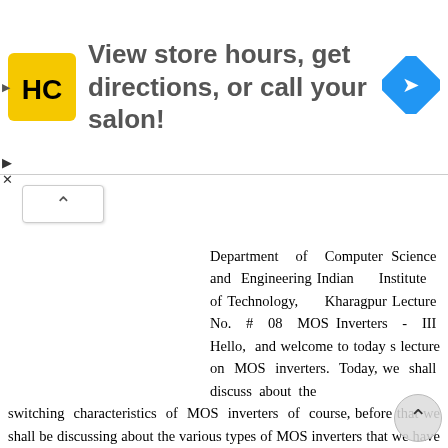[Figure (screenshot): Advertisement banner: HC salon logo on yellow background, text 'View store hours, get directions, or call your salon!', blue navigation arrow icon on right]
Department of Computer Science and Engineering Indian Institute of Technology, Kharagpur Lecture No. # 08 MOS Inverters - III Hello, and welcome to today s lecture on MOS inverters. Today, we shall discuss about the switching characteristics of MOS inverters of course, before that we shall be discussing about the various types of MOS inverters that we have discussed in the last two lectures and we shall have some kind of comparison. (Refer Slide Time: 00:39) And here is the agenda of today's lecture. This is primarily on switching characteristics after giving brief introduction we shall discuss about the resistor estimation. We will see that different types of resistors are present in a V.L.S.I circuit and that resistor will lead to